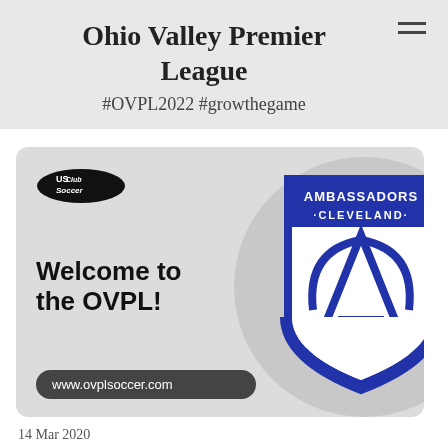Ohio Valley Premier League
#OVPL2022 #growthegame
[Figure (illustration): Promotional card with US Club Soccer logo, 'Welcome to the OVPL!' text, www.ovplsoccer.com URL pill button, and Ambassadors Cleveland shield/crest logo on a light gray background with circular accent]
14 Mar 2020